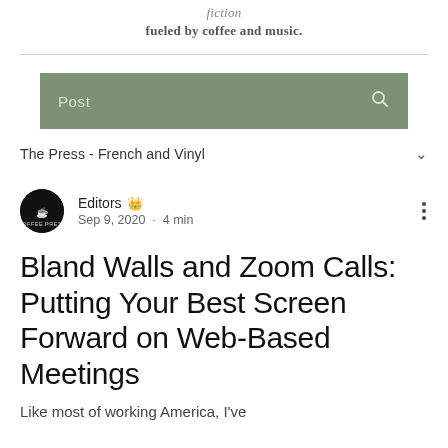fiction
fueled by coffee and music.
[Figure (screenshot): Green search bar with 'Post' label and magnifying glass icon]
The Press - French and Vinyl
Editors  Sep 9, 2020 · 4 min
Bland Walls and Zoom Calls: Putting Your Best Screen Forward on Web-Based Meetings
Like most of working America, I've